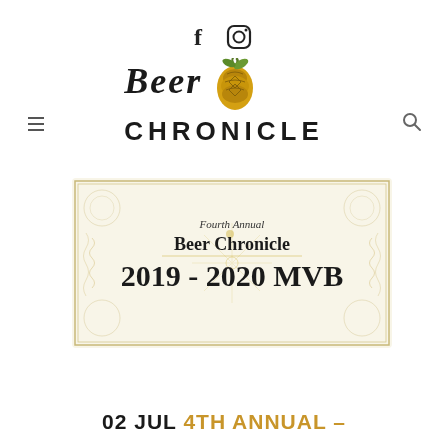[Figure (logo): Social media icons: Facebook (f) and Instagram (camera) icons centered at top of page]
[Figure (logo): Beer Chronicle logo: stylized italic 'Beer' text with hop cone graphic and bold 'CHRONICLE' text below]
[Figure (illustration): Certificate-style image with ornate border reading 'Fourth Annual Beer Chronicle 2019-2020 MVB' in gothic/blackletter font on cream background]
02 JUL 4TH ANNUAL –